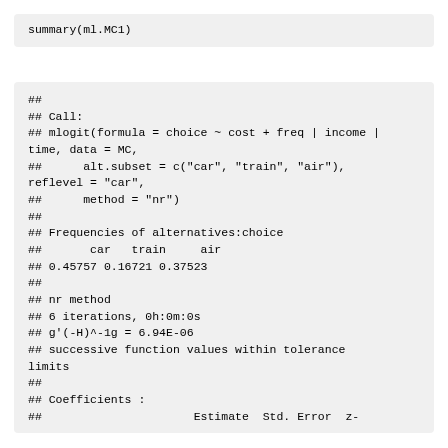summary(ml.MC1)
##
## Call:
## mlogit(formula = choice ~ cost + freq | income |
time, data = MC,
##      alt.subset = c("car", "train", "air"),
reflevel = "car",
##      method = "nr")
##
## Frequencies of alternatives:choice
##       car   train     air
## 0.45757 0.16721 0.37523
##
## nr method
## 6 iterations, 0h:0m:0s
## g'(-H)^-1g = 6.94E-06
## successive function values within tolerance
limits
##
## Coefficients :
##                      Estimate  Std. Error  z-